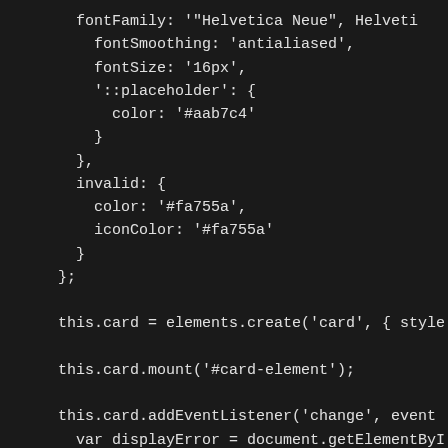[Figure (screenshot): Dark-themed code editor screenshot showing JavaScript code with fontFamily, fontSmoothing, fontSize, placeholder color, invalid color/iconColor style properties, and card element creation, mounting, and addEventListener calls with displayError handling.]